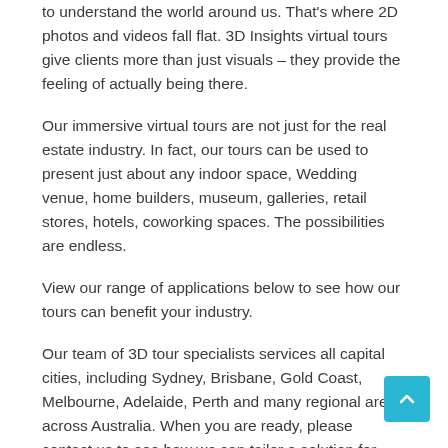to understand the world around us. That's where 2D photos and videos fall flat. 3D Insights virtual tours give clients more than just visuals – they provide the feeling of actually being there.
Our immersive virtual tours are not just for the real estate industry. In fact, our tours can be used to present just about any indoor space, Wedding venue, home builders, museum, galleries, retail stores, hotels, coworking spaces. The possibilities are endless.
View our range of applications below to see how our tours can benefit your industry.
Our team of 3D tour specialists services all capital cities, including Sydney, Brisbane, Gold Coast, Melbourne, Adelaide, Perth and many regional areas across Australia. When you are ready, please contact us to see how we can tailor a solution for your...